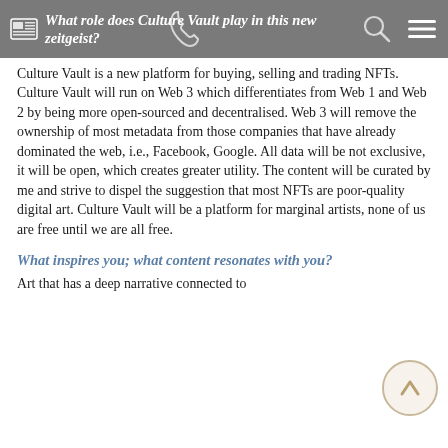What role does Culture Vault play in this new zeitgeist?
Culture Vault is a new platform for buying, selling and trading NFTs. Culture Vault will run on Web 3 which differentiates from Web 1 and Web 2 by being more open-sourced and decentralised. Web 3 will remove the ownership of most metadata from those companies that have already dominated the web, i.e., Facebook, Google. All data will be not exclusive, it will be open, which creates greater utility. The content will be curated by me and strive to dispel the suggestion that most NFTs are poor-quality digital art. Culture Vault will be a platform for marginal artists, none of us are free until we are all free.
What inspires you; what content resonates with you?
Art that has a deep narrative connected to